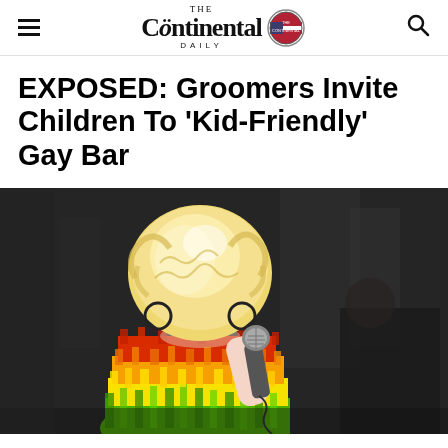The Continental Daily
EXPOSED: Groomers Invite Children To 'Kid-Friendly' Gay Bar
[Figure (photo): A drag queen performer with large blonde hair, heavy stage makeup including blue eyeshadow and red lips, wearing a colorful rainbow feathered outfit, holding a microphone, photographed against a dark background.]